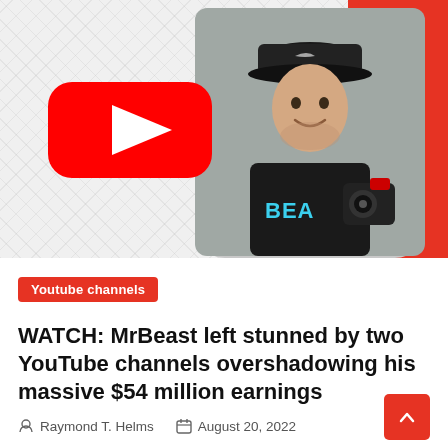[Figure (photo): Hero image showing YouTube logo on left with patterned background, and a young man in a black MrBeast shirt holding a camera on the right, with a red panel on the far right]
Youtube channels
WATCH: MrBeast left stunned by two YouTube channels overshadowing his massive $54 million earnings
Raymond T. Helms   August 20, 2022